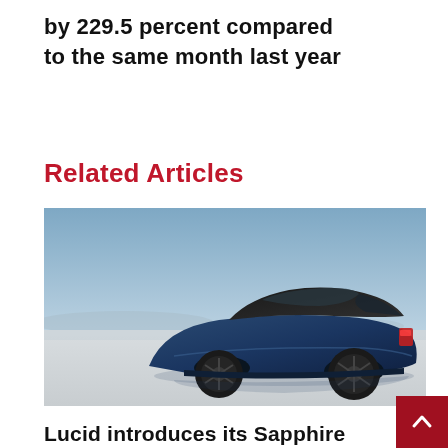by 229.5 percent compared to the same month last year
Related Articles
[Figure (photo): A dark blue Lucid Air Sapphire electric saloon car photographed from the rear three-quarter angle on a flat salt flat with a pale blue sky in the background.]
Lucid introduces its Sapphire saloon offering the pinnacle of electric performance to take on the best in the business